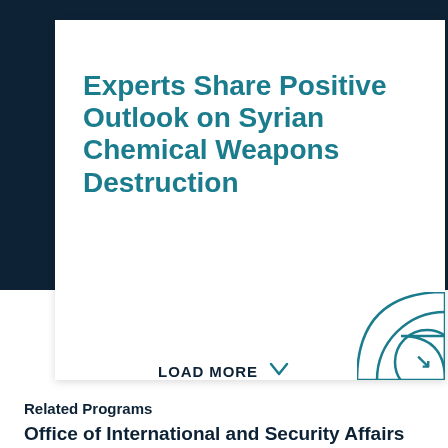Experts Share Positive Outlook on Syrian Chemical Weapons Destruction
LOAD MORE
Related Programs
Office of International and Security Affairs